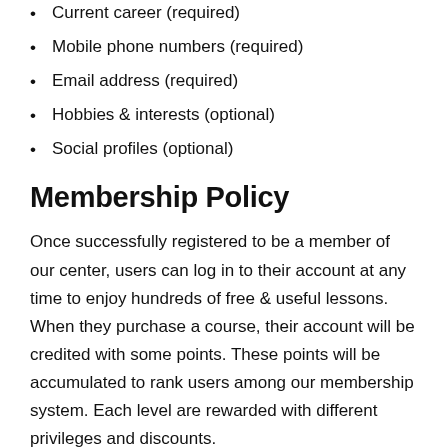Current career (required)
Mobile phone numbers (required)
Email address (required)
Hobbies & interests (optional)
Social profiles (optional)
Membership Policy
Once successfully registered to be a member of our center, users can log in to their account at any time to enjoy hundreds of free & useful lessons. When they purchase a course, their account will be credited with some points. These points will be accumulated to rank users among our membership system. Each level are rewarded with different privileges and discounts.